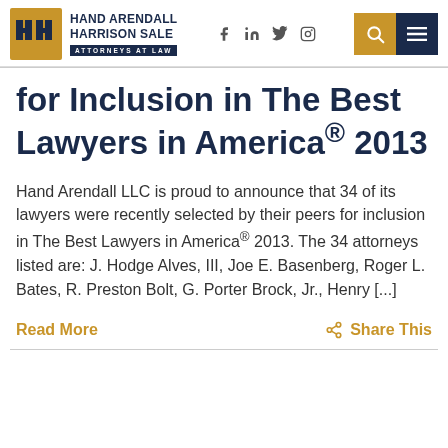HAND ARENDALL HARRISON SALE ATTORNEYS AT LAW
for Inclusion in The Best Lawyers in America® 2013
Hand Arendall LLC is proud to announce that 34 of its lawyers were recently selected by their peers for inclusion in The Best Lawyers in America® 2013. The 34 attorneys listed are: J. Hodge Alves, III, Joe E. Basenberg, Roger L. Bates, R. Preston Bolt, G. Porter Brock, Jr., Henry [...]
Read More
Share This